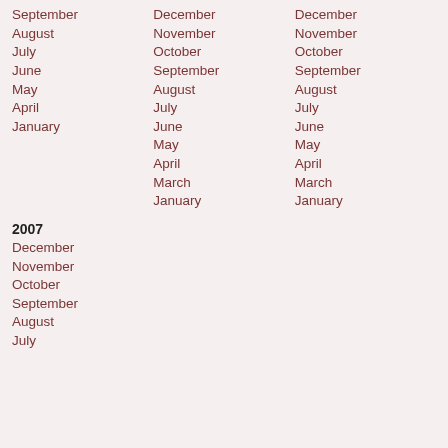September
August
July
June
May
April
January
December
November
October
September
August
July
June
May
April
March
January
December
November
October
September
August
July
June
May
April
March
January
2007
December
November
October
September
August
July